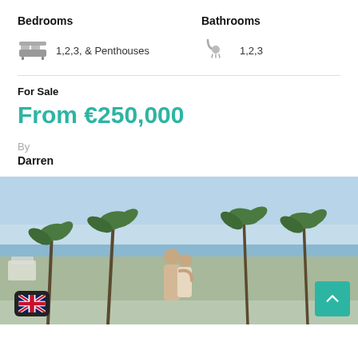Bedrooms
Bathrooms
1,2,3, & Penthouses
1,2,3
For Sale
From €250,000
By
Darren
[Figure (photo): Couple embracing overlooking a Mediterranean landscape with palm trees and sea view]